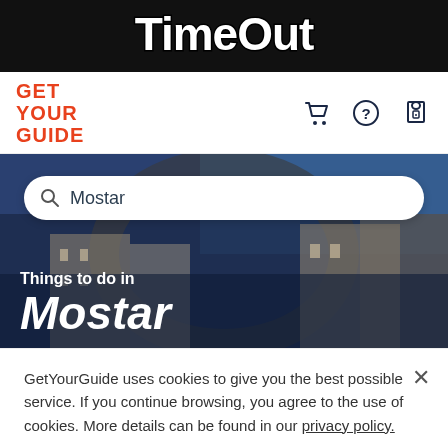TimeOut
[Figure (logo): GetYourGuide logo in orange/red bold text]
[Figure (photo): Hero banner showing Mostar old bridge and buildings with a search bar overlay and 'Things to do in Mostar' text]
GetYourGuide uses cookies to give you the best possible service. If you continue browsing, you agree to the use of cookies. More details can be found in our privacy policy.